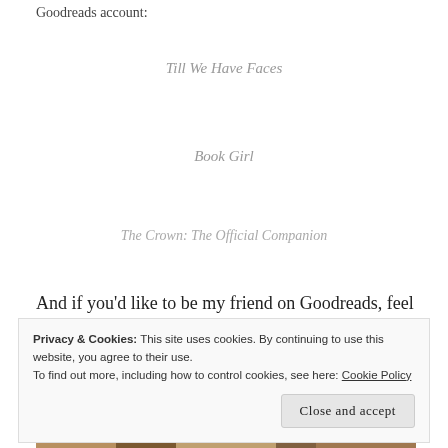Goodreads account:
Till We Have Faces
Book Girl
The Crown: The Official Companion
And if you’d like to be my friend on Goodreads, feel free to send me a request! I’m really loving this website–especially the “Want to Read” feature.
[Figure (photo): A photo of books on a shelf with warm colors]
Privacy & Cookies: This site uses cookies. By continuing to use this website, you agree to their use.
To find out more, including how to control cookies, see here: Cookie Policy
Close and accept